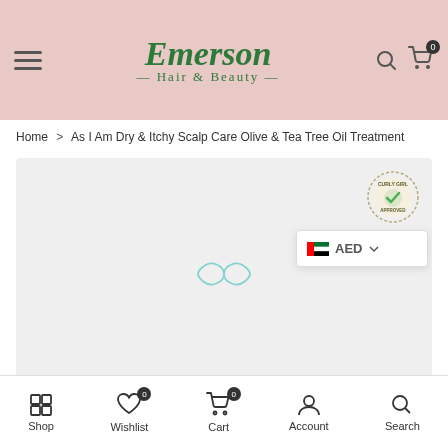[Figure (screenshot): Emerson Hair & Beauty website header with pink background, hamburger menu, script logo in green, search and cart icons]
Home > As I Am Dry & Itchy Scalp Care Olive & Tea Tree Oil Treatment
[Figure (photo): Product image area (light grey background) showing a loading spinner, with a Curly Girl Approved badge in top right corner and a UAE flag AED currency selector overlay]
[Figure (infographic): Bottom navigation bar with Shop, Wishlist (0), Cart (0), Account, Search icons]